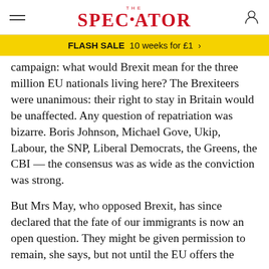THE SPECTATOR
FLASH SALE  10 weeks for £1  >
campaign: what would Brexit mean for the three million EU nationals living here? The Brexiteers were unanimous: their right to stay in Britain would be unaffected. Any question of repatriation was bizarre. Boris Johnson, Michael Gove, Ukip, Labour, the SNP, Liberal Democrats, the Greens, the CBI — the consensus was as wide as the conviction was strong.
But Mrs May, who opposed Brexit, has since declared that the fate of our immigrants is now an open question. They might be given permission to remain, she says, but not until the EU offers the